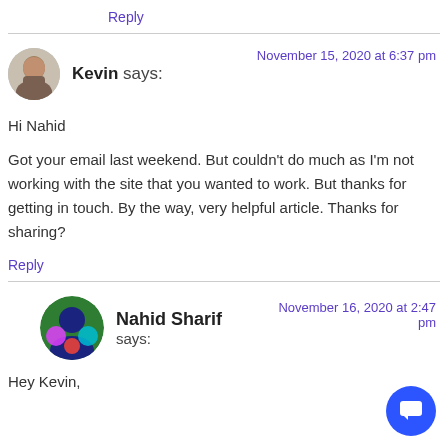Reply
Kevin says:
November 15, 2020 at 6:37 pm
Hi Nahid
Got your email last weekend. But couldn't do much as I'm not working with the site that you wanted to work. But thanks for getting in touch. By the way, very helpful article. Thanks for sharing?
Reply
Nahid Sharif says:
November 16, 2020 at 2:47 pm
Hey Kevin,